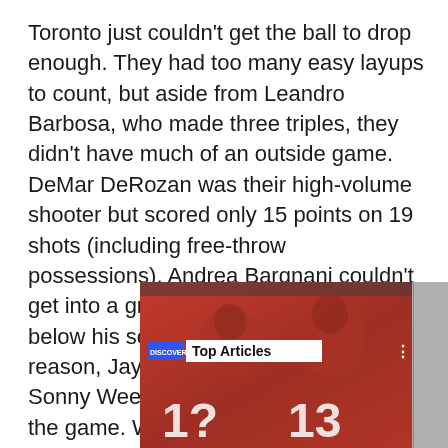Toronto just couldn't get the ball to drop enough. They had too many easy layups to count, but aside from Leandro Barbosa, who made three triples, they didn't have much of an outside game. DeMar DeRozan was their high-volume shooter but scored only 15 points on 19 shots (including free-throw possessions). Andrea Bargnani couldn't get into a groove and was held 10 points below his season average. For some reason, Jay Triano decided to bench Sonny Weems for all but six minutes of the game. Weems scored 23 against Utah on Wednesday and, one would think, could've provided some floor-spacing punch tonight.
[Figure (photo): Screenshot of a sports article page showing football players in red jerseys (numbers 1? and 13) with a 'Top Articles' overlay bar and a menu button.]